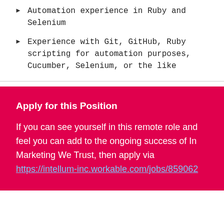Automation experience in Ruby and Selenium
Experience with Git, GitHub, Ruby scripting for automation purposes, Cucumber, Selenium, or the like
Apply for this Position
If you can see yourself in this remote role and feel you can add to the ongoing success of In Marketing We Trust, then apply via https://intellum-inc.workable.com/jobs/859062